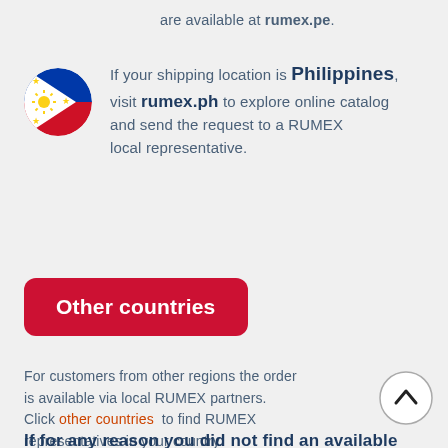are available at rumex.pe.
If your shipping location is Philippines, visit rumex.ph to explore online catalog and send the request to a RUMEX local representative.
Other countries
For customers from other regions the order is available via local RUMEX partners. Click other countries to find RUMEX representatives in your country.
If for any reason you did not find an available